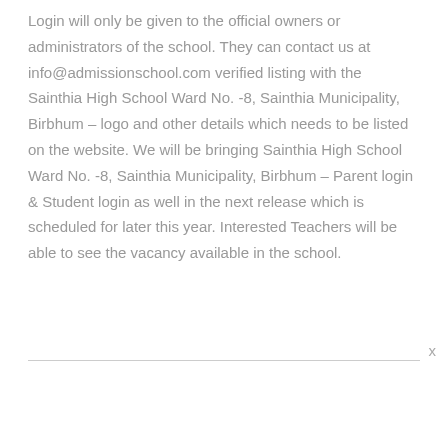Login will only be given to the official owners or administrators of the school. They can contact us at info@admissionschool.com verified listing with the Sainthia High School Ward No. -8, Sainthia Municipality, Birbhum – logo and other details which needs to be listed on the website. We will be bringing Sainthia High School Ward No. -8, Sainthia Municipality, Birbhum – Parent login & Student login as well in the next release which is scheduled for later this year. Interested Teachers will be able to see the vacancy available in the school.